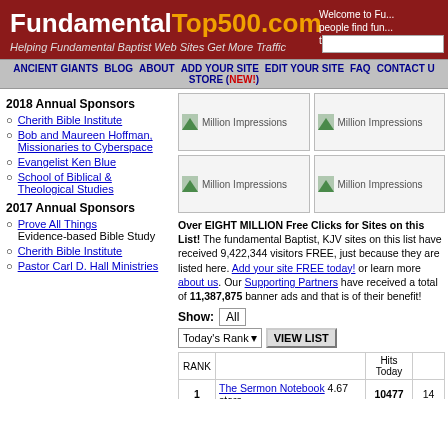FundamentalTop500.com
Helping Fundamental Baptist Web Sites Get More Traffic
Welcome to Fu... people find fun... these web sites...
ANCIENT GIANTS  BLOG  ABOUT  ADD YOUR SITE  EDIT YOUR SITE  FAQ  CONTACT U  STORE (NEW!)
2018 Annual Sponsors
Cherith Bible Institute
Bob and Maureen Hoffman, Missionaries to Cyberspace
Evangelist Ken Blue
School of Biblical & Theological Studies
2017 Annual Sponsors
Prove All Things Evidence-based Bible Study
Cherith Bible Institute
Pastor Carl D. Hall Ministries
[Figure (other): Four banner ads labeled 'Million Impressions' in a 2x2 grid]
Over EIGHT MILLION Free Clicks for Sites on this List! The fundamental Baptist, KJV sites on this list have received 9,422,344 visitors FREE, just because they are listed here. Add your site FREE today! or learn more about us. Our Supporting Partners have received a total of 11,387,875 banner ads and that is of their benefit!
Show: All
Today's Rank  VIEW LIST
| RANK |  | Hits Today |  |
| --- | --- | --- | --- |
| 1 | The Sermon Notebook 4.67 stars | 10477 | 14 |
| 2 | Jesus Christ is the Only Way to Heaven! | 1196 | 16 |
| 3 | The | 435 | 40 |